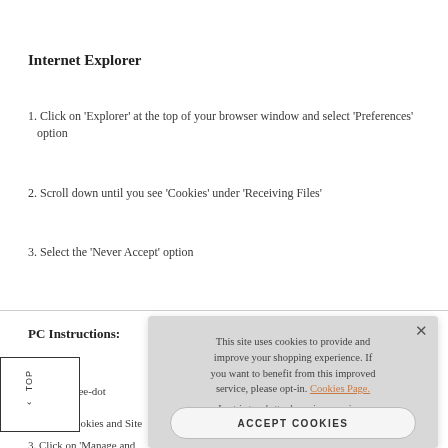Internet Explorer
1. Click on 'Explorer' at the top of your browser window and select 'Preferences' option
2. Scroll down until you see 'Cookies' under 'Receiving Files'
3. Select the 'Never Accept' option
PC Instructions:
Microsoft Edge
1. Click on the three-dot ...u
2. Click 'Cookies and Site...
3. Click on 'Manage and... stored' screen
[Figure (screenshot): Cookie consent popup overlay with text: 'This site uses cookies to provide and improve your shopping experience. If you want to benefit from this improved service, please opt-in. Cookies Page.' with an opt-in note and 'ACCEPT COOKIES' button.]